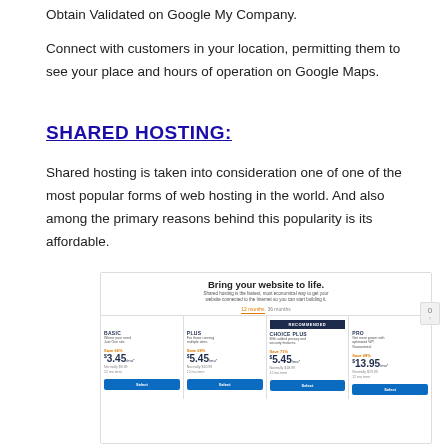Obtain Validated on Google My Company.
Connect with customers in your location, permitting them to see your place and hours of operation on Google Maps.
SHARED HOSTING:
Shared hosting is taken into consideration one of one of the most popular forms of web hosting in the world. And also among the primary reasons behind this popularity is its affordable.
[Figure (screenshot): Bluehost shared hosting pricing page showing 'Bring your website to life.' header with four plans: BASIC at $3.45/mo, PLUS at $5.45/mo, CHOICE PLUS (recommended) at $5.45/mo, and PRO at $13.95/mo, each with Save percentages and Select buttons.]